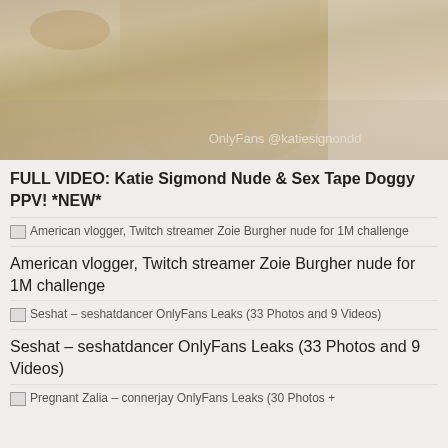[Figure (photo): Top portion of a photo with a watermark reading 'OnlyFans @katiesigmondd']
FULL VIDEO: Katie Sigmond Nude & Sex Tape Doggy PPV! *NEW*
[Figure (photo): Thumbnail image broken/placeholder for American vlogger Twitch streamer Zoie Burgher nude for 1M challenge]
American vlogger, Twitch streamer Zoie Burgher nude for 1M challenge
[Figure (photo): Thumbnail image broken/placeholder for Seshat seshatdancer OnlyFans Leaks 33 Photos and 9 Videos]
Seshat – seshatdancer OnlyFans Leaks (33 Photos and 9 Videos)
[Figure (photo): Thumbnail image broken/placeholder for Pregnant Zalia connerjay OnlyFans Leaks 30 Photos +]